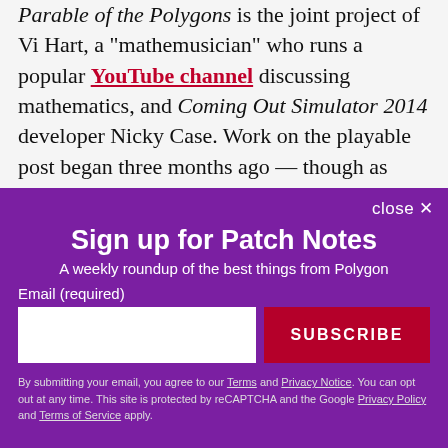Parable of the Polygons is the joint project of Vi Hart, a "mathemusician" who runs a popular YouTube channel discussing mathematics, and Coming Out Simulator 2014 developer Nicky Case. Work on the playable post began three months ago — though as Hart recently noted on her personal website, "matters of systematic bias [are] even more topical now."
[Figure (screenshot): Purple modal overlay for newsletter signup. Title: 'Sign up for Patch Notes'. Subtitle: 'A weekly roundup of the best things from Polygon'. Email input field with SUBSCRIBE button. Legal text at bottom. Close button top-right.]